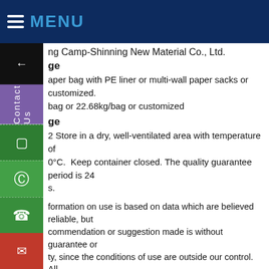MENU
ng Camp-Shinning New Material Co., Ltd.
ge
aper bag with PE liner or multi-wall paper sacks or customized.
bag or 22.68kg/bag or customized
ge
2 Store in a dry, well-ventilated area with temperature of
0°C.  Keep container closed. The quality guarantee period is 24
s.
formation on use is based on data which are believed reliable, but
commendation or suggestion made is without guarantee or
ty, since the conditions of use are outside our control. All
ts are sold on the conditions that purchasers shall make their
sts to determine the suitability of such products for their purpose
at all risks are assumed by user. We disclaim any responsibility for damages resulting from careless or improper handling or use. Nothing herein is to be taken as permission, inducement or